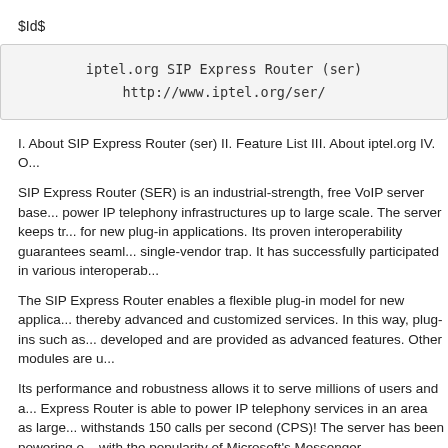$Id$
[Figure (other): Code/text box showing: iptel.org SIP Express Router (ser)
http://www.iptel.org/ser/]
I. About SIP Express Router (ser) II. Feature List III. About iptel.org IV. O...
SIP Express Router (SER) is an industrial-strength, free VoIP server base... power IP telephony infrastructures up to large scale. The server keeps tra... for new plug-in applications. Its proven interoperability guarantees seaml... single-vendor trap. It has successfully participated in various interoperab...
The SIP Express Router enables a flexible plug-in model for new applica... thereby advanced and customized services. In this way, plug-ins such as... developed and are provided as advanced features. Other modules are u...
Its performance and robustness allows it to serve millions of users and a... Express Router is able to power IP telephony services in an area as large... withstands 150 calls per second (CPS)! The server has been powering o... with the popularity of Microsoft's Messenger.
The SIP Express Router is extremely configurable to allow the creation o... customized services. Its configurability allows it to serve many roles: net...
II. Feature List